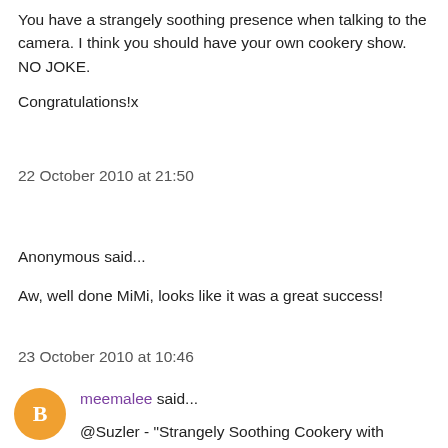You have a strangely soothing presence when talking to the camera. I think you should have your own cookery show. NO JOKE.

Congratulations!x
22 October 2010 at 21:50
Anonymous said...
Aw, well done MiMi, looks like it was a great success!
23 October 2010 at 10:46
meemalee said...
@Suzler - "Strangely Soothing Cookery with meemalee" - it just might work. Thank you :)
@Jaime: Thanks so much!...